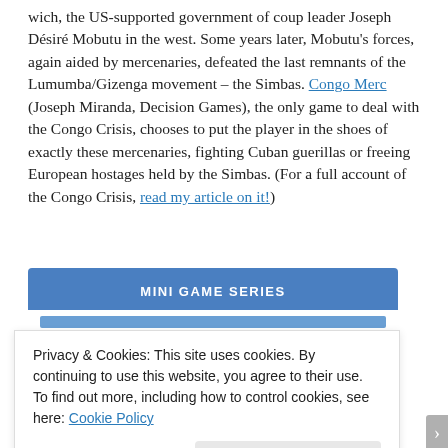wich, the US-supported government of coup leader Joseph Désiré Mobutu in the west. Some years later, Mobutu's forces, again aided by mercenaries, defeated the last remnants of the Lumumba/Gizenga movement – the Simbas. Congo Merc (Joseph Miranda, Decision Games), the only game to deal with the Congo Crisis, chooses to put the player in the shoes of exactly these mercenaries, fighting Cuban guerillas or freeing European hostages held by the Simbas. (For a full account of the Congo Crisis, read my article on it!)
[Figure (other): Blue banner with text MINI GAME SERIES and a lighter blue inner bar below it]
Privacy & Cookies: This site uses cookies. By continuing to use this website, you agree to their use.
To find out more, including how to control cookies, see here: Cookie Policy
Close and accept